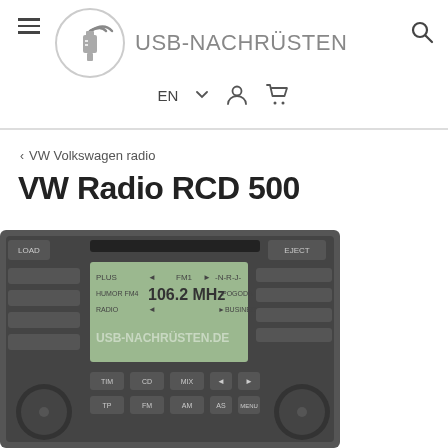USB-NACHRÜSTEN
EN
VW Volkswagen radio
VW Radio RCD 500
[Figure (photo): VW Radio RCD 500 car radio unit displaying FM1 106.2 MHz on screen, with CD slot, various buttons (TIM, CD, MIX, TP, FM, AM, AS, MENU) and two rotary knobs. Watermark reads USB-NACHRÜSTEN.DE]